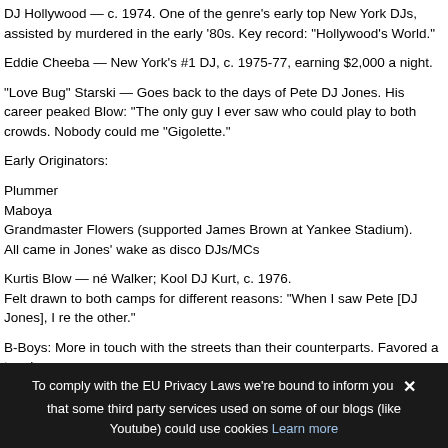DJ Hollywood — c. 1974. One of the genre's early top New York DJs, assisted by murdered in the early '80s. Key record: "Hollywood's World."
Eddie Cheeba — New York's #1 DJ, c. 1975-77, earning $2,000 a night.
"Love Bug" Starski — Goes back to the days of Pete DJ Jones. His career peaked Blow: "The only guy I ever saw who could play to both crowds. Nobody could me "Gigolette."
Early Originators:
Plummer
Maboya
Grandmaster Flowers (supported James Brown at Yankee Stadium).
All came in Jones' wake as disco DJs/MCs
Kurtis Blow — né Walker; Kool DJ Kurt, c. 1976.
Felt drawn to both camps for different reasons: "When I saw Pete [DJ Jones], I re the other."
B-Boys: More in touch with the streets than their counterparts. Favored a tougher
Kool DJ Herc — "The godfather of hip-hop"; despite his slight rhyming skills, his system inspired such followers as…
"Herculoids"
To comply with the EU Privacy Laws we're bound to inform you that some third party services used on some of our blogs (like Youtube) could use cookies Learn more